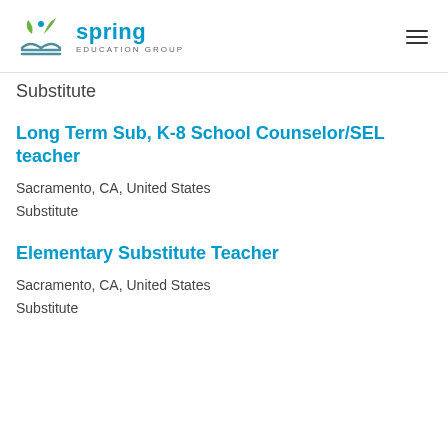Spring Education Group
Substitute
Long Term Sub, K-8 School Counselor/SEL teacher
Sacramento, CA, United States
Substitute
Elementary Substitute Teacher
Sacramento, CA, United States
Substitute